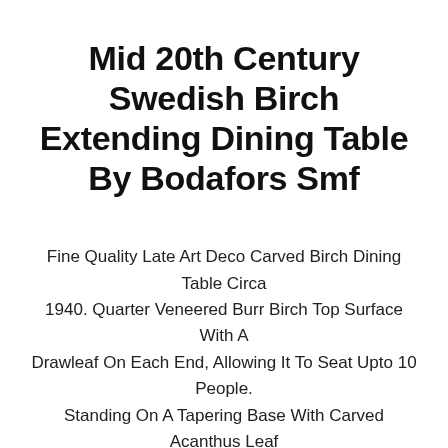Mid 20th Century Swedish Birch Extending Dining Table By Bodafors Smf
Fine Quality Late Art Deco Carved Birch Dining Table Circa 1940. Quarter Veneered Burr Birch Top Surface With A Drawleaf On Each End, Allowing It To Seat Upto 10 People. Standing On A Tapering Base With Carved Acanthus Leaf Detailing.
$2852.93